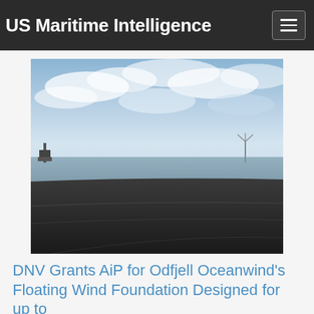US Maritime Intelligence
[Figure (photo): Aerial or elevated view of an offshore marine scene with calm water, sky with clouds, and a dark foreground structure (ship deck or platform). An offshore installation is visible in the far left background.]
DNV Grants AiP for Odfjell Oceanwind's Floating Wind Foundation Designed for up to